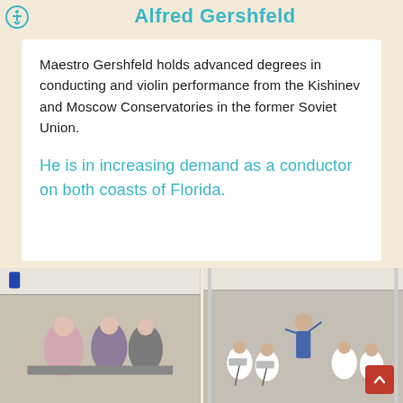Alfred Gershfeld
Maestro Gershfeld holds advanced degrees in conducting and violin performance from the Kishinev and Moscow Conservatories in the former Soviet Union.
He is in increasing demand as a conductor on both coasts of Florida.
[Figure (photo): Photo of people serving food under a white tent]
[Figure (photo): Photo of a conductor leading an orchestra under a white tent]